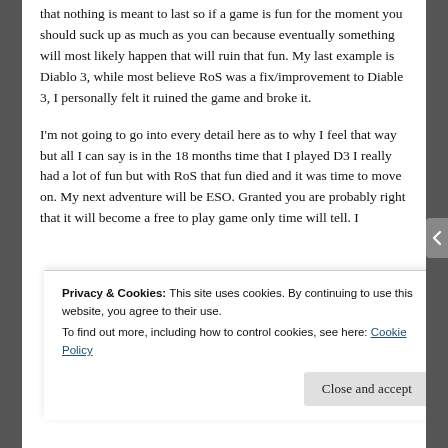that nothing is meant to last so if a game is fun for the moment you should suck up as much as you can because eventually something will most likely happen that will ruin that fun. My last example is Diablo 3, while most believe RoS was a fix/improvement to Diable 3, I personally felt it ruined the game and broke it.
I'm not going to go into every detail here as to why I feel that way but all I can say is in the 18 months time that I played D3 I really had a lot of fun but with RoS that fun died and it was time to move on. My next adventure will be ESO. Granted you are probably right that it will become a free to play game only time will tell. I
Privacy & Cookies: This site uses cookies. By continuing to use this website, you agree to their use.
To find out more, including how to control cookies, see here: Cookie Policy